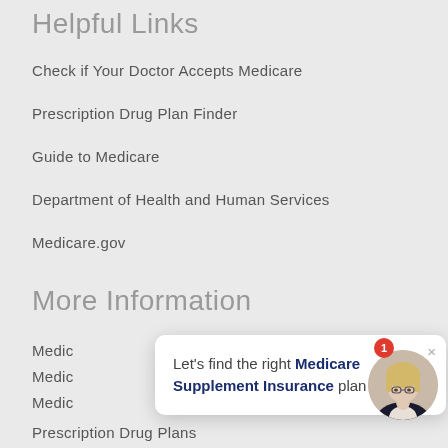Helpful Links
Check if Your Doctor Accepts Medicare
Prescription Drug Plan Finder
Guide to Medicare
Department of Health and Human Services
Medicare.gov
More Information
Medic…
Medic…
Medic…
Prescription Drug Plans
Let's find the right Medicare Supplement Insurance plan for you!
[Figure (photo): Circular avatar photo of a woman with blonde hair and glasses wearing a dark blazer, with a red notification badge showing number 1]